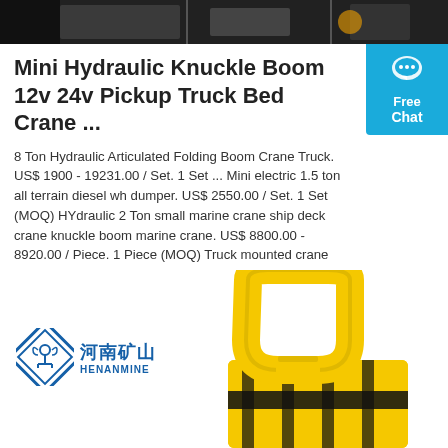[Figure (photo): Dark background image at top of page, appears to be a cropped product or industrial photo]
Mini Hydraulic Knuckle Boom 12v 24v Pickup Truck Bed Crane ...
8 Ton Hydraulic Articulated Folding Boom Crane Truck. US$ 1900 - 19231.00 / Set. 1 Set ... Mini electric 1.5 ton all terrain diesel wh dumper. US$ 2550.00 / Set. 1 Set (MOQ) HYdraulic 2 Ton small marine crane ship deck crane knuckle boom marine crane. US$ 8800.00 - 8920.00 / Piece. 1 Piece (MOQ) Truck mounted crane Heavy duty 25 Ton ...
[Figure (other): Free Chat badge widget - teal/blue button with chat bubble icon, Free Chat label]
[Figure (other): Orange Get Price button]
[Figure (logo): Henanmine logo - blue diamond shape with anchor symbol and Chinese characters 河南矿山, HENANMINE text below]
[Figure (photo): Yellow industrial crane hook/equipment component shown against white background, with black and yellow hazard stripes]